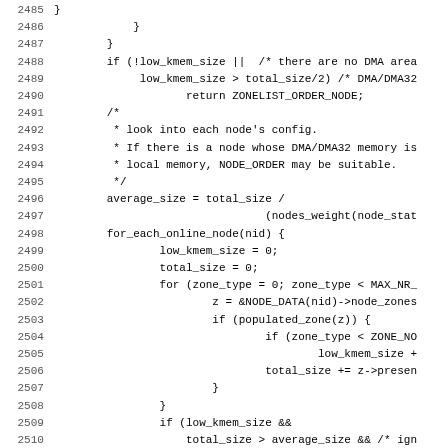[Figure (other): Source code listing (C/kernel code) with line numbers 2485-2516, showing memory zone ordering logic]